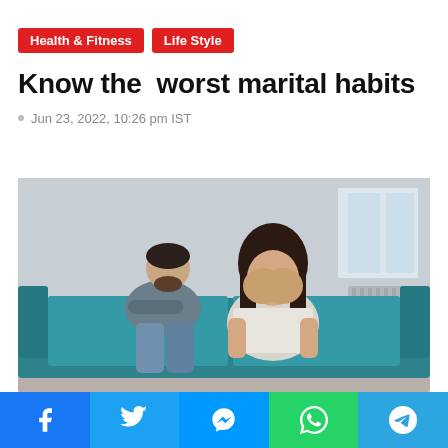Health & Fitness  Life Style
Know the  worst marital habits
Jun 23, 2022, 10:26 pm IST
[Figure (photo): A woman sitting on a teal sofa with her hands covering her face in distress, while a man sits behind her with his back turned and arms crossed, in an apartment setting.]
Facebook | Twitter | Messenger | WhatsApp | Telegram